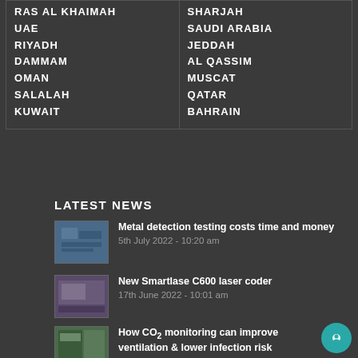| RAS AL KHAIMAH | SHARJAH |
| UAE | SAUDI ARABIA |
| RIYADH | JEDDAH |
| DAMMAM | AL QASSIM |
| OMAN | MUSCAT |
| SALALAH | QATAR |
| KUWAIT | BAHRAIN |
LATEST NEWS
[Figure (photo): Thumbnail image for metal detection news article]
Metal detection testing costs time and money
5th July 2022 - 10:20 am
[Figure (photo): Thumbnail image for Smartlase C600 laser coder news article]
New Smartlase C600 laser coder
17th June 2022 - 10:01 am
[Figure (photo): Thumbnail image for CO2 monitoring news article]
How CO2 monitoring can improve ventilation & lower infection risk
20th June 2021 - 10:45 am